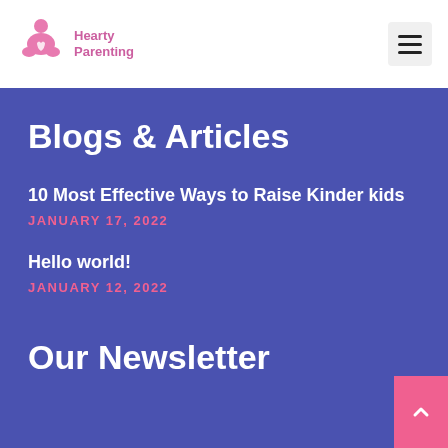Hearty Parenting
Blogs & Articles
10 Most Effective Ways to Raise Kinder kids
JANUARY 17, 2022
Hello world!
JANUARY 12, 2022
Our Newsletter